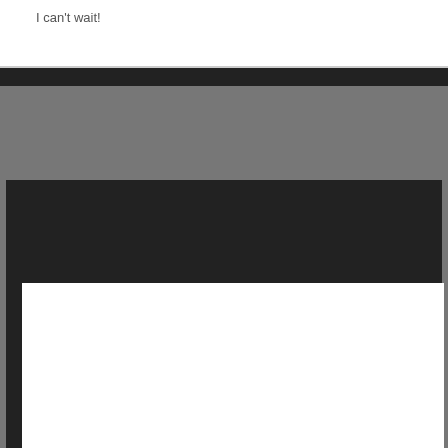I can't wait!
[Figure (screenshot): A large white blank content area framed by a dark/black border on a gray background, resembling a UI panel or dialog box with no content.]